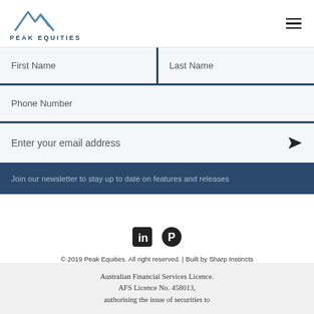[Figure (logo): Peak Equities logo with mountain peak icon in blue and text PEAK EQUITIES]
[Figure (other): Hamburger menu icon (three horizontal lines)]
First Name
Last Name
Phone Number
Enter your email address
Join our newsletter to stay up to date on features and releases
[Figure (other): LinkedIn social media icon (black square with in)]
[Figure (other): Pinterest social media icon (black circle with P)]
© 2019 Peak Equities. All right reserved. | Built by Sharp Instincts
Australian Financial Services Licence. AFS Licence No. 458013, authorising the issue of securities to Wholesale/Sophisticated clients.